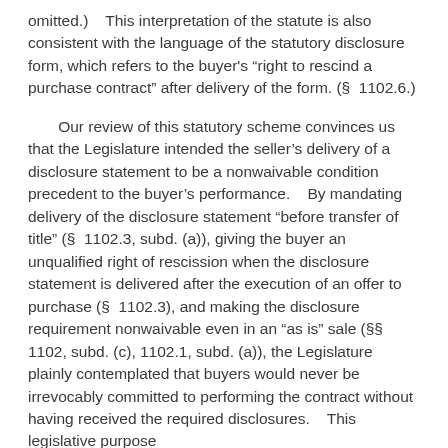omitted.)    This interpretation of the statute is also consistent with the language of the statutory disclosure form, which refers to the buyer's “right to rescind a purchase contract” after delivery of the form. (§  1102.6.)
Our review of this statutory scheme convinces us that the Legislature intended the seller’s delivery of a disclosure statement to be a nonwaivable condition precedent to the buyer’s performance.    By mandating delivery of the disclosure statement “before transfer of title” (§  1102.3, subd. (a)), giving the buyer an unqualified right of rescission when the disclosure statement is delivered after the execution of an offer to purchase (§  1102.3), and making the disclosure requirement nonwaivable even in an “as is” sale (§§  1102, subd. (c), 1102.1, subd. (a)), the Legislature plainly contemplated that buyers would never be irrevocably committed to performing the contract without having received the required disclosures.    This legislative purpose